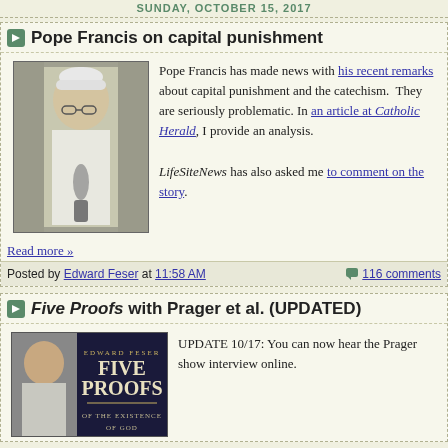SUNDAY, OCTOBER 15, 2017
Pope Francis on capital punishment
[Figure (photo): Photo of Pope Francis speaking at a microphone, wearing white vestments and zucchetto]
Pope Francis has made news with his recent remarks about capital punishment and the catechism. They are seriously problematic. In an article at Catholic Herald, I provide an analysis.

LifeSiteNews has also asked me to comment on the story.
Read more »
Posted by Edward Feser at 11:58 AM    116 comments
Five Proofs with Prager et al. (UPDATED)
[Figure (photo): Book cover of Five Proofs by Edward Feser, with a photo of a person]
UPDATE 10/17: You can now hear the Prager show interview online.